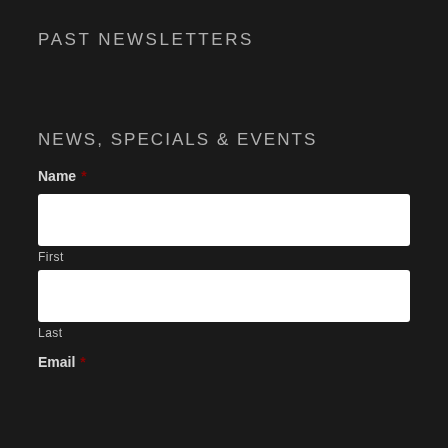PAST NEWSLETTERS
NEWS, SPECIALS & EVENTS
Name *
First
Last
Email *